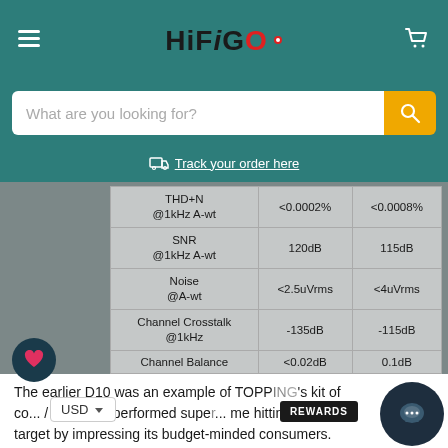HiFiGO
What are you looking for?
Track your order here
|  |  |  |
| --- | --- | --- |
| THD+N @1kHz A-wt | <0.0002% | <0.0008% |
| SNR @1kHz A-wt | 120dB | 115dB |
| Noise @A-wt | <2.5uVrms | <4uVrms |
| Channel Crosstalk @1kHz | -135dB | -115dB |
| Channel Balance | <0.02dB | 0.1dB |
| Output Impedance | 20Ω | 100Ω |
The earlier D10 was an example of TOPPING's kit of co... / DAC that performed supe... me hitting its target by impressing its budget-minded consumers.